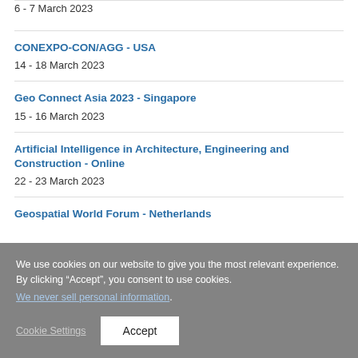6 - 7 March 2023
CONEXPO-CON/AGG - USA
14 - 18 March 2023
Geo Connect Asia 2023 - Singapore
15 - 16 March 2023
Artificial Intelligence in Architecture, Engineering and Construction - Online
22 - 23 March 2023
Geospatial World Forum - Netherlands
We use cookies on our website to give you the most relevant experience. By clicking “Accept”, you consent to use cookies. We never sell personal information.
Cookie Settings
Accept